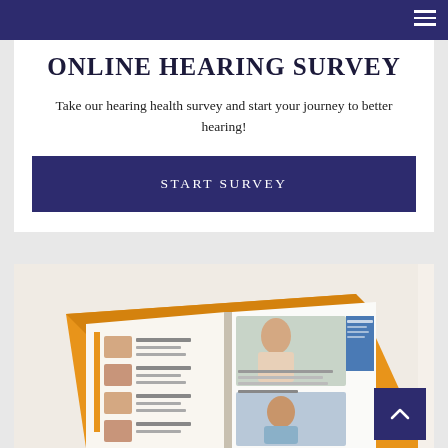ONLINE HEARING SURVEY
Take our hearing health survey and start your journey to better hearing!
START SURVEY
[Figure (photo): Open brochure/booklet showing hearing aid styles with photos of people and ear diagrams, with an orange cover visible underneath]